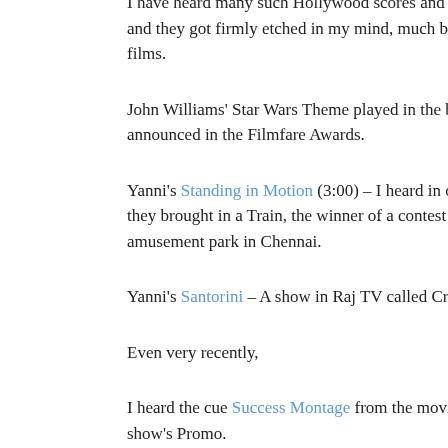I have heard many such Hollywood scores and non-Indian instruments and they got firmly etched in my mind, much before I started films.
John Williams' Star Wars Theme played in the background wh announced in the Filmfare Awards.
Yanni's Standing in Motion (3:00) – I heard in one of Sun TV they brought in a Train, the winner of a contest from all over amusement park in Chennai.
Yanni's Santorini – A show in Raj TV called Crush's Dhaagan
Even very recently,
I heard the cue Success Montage from the movie Wanted first show's Promo.
Surprisingly, some of the cues from Indian film scores were al